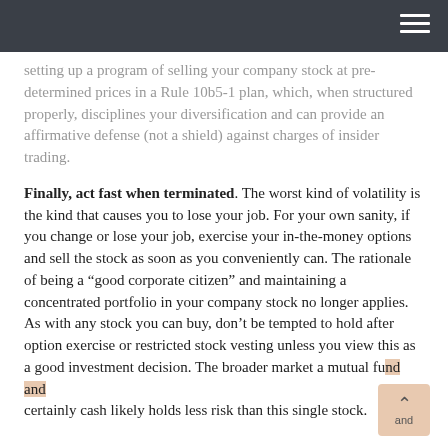setting up a program of selling your company stock at pre-determined prices in a Rule 10b5-1 plan, which, when structured properly, disciplines your diversification and can provide an affirmative defense (not a shield) against charges of insider trading.
Finally, act fast when terminated. The worst kind of volatility is the kind that causes you to lose your job. For your own sanity, if you change or lose your job, exercise your in-the-money options and sell the stock as soon as you conveniently can. The rationale of being a “good corporate citizen” and maintaining a concentrated portfolio in your company stock no longer applies. As with any stock you can buy, don’t be tempted to hold after option exercise or restricted stock vesting unless you view this as a good investment decision. The broader market a mutual fund and certainly cash likely holds less risk than this single stock.